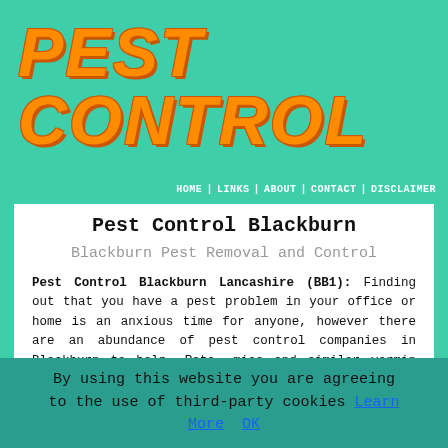PEST CONTROL
HOME | LINKS | ABOUT | CONTACT | DISCLAIMER
Pest Control Blackburn
Blackburn Pest Removal and Control
Pest Control Blackburn Lancashire (BB1): Finding out that you have a pest problem in your office or home is an anxious time for anyone, however there are an abundance of pest control companies in Blackburn to help. Rats, mice and similar vermin can be an enormous problem that, unless treated swiftly, safely and effectively can cause damage to your property and also are capable of spreading diseases. Contacting an experienced and knowledgable pest control service needs to be carried out the minute any pest infestation is discovered, whether it's rodents or other
By using this website you are agreeing to the use of third-party cookies Learn More  OK